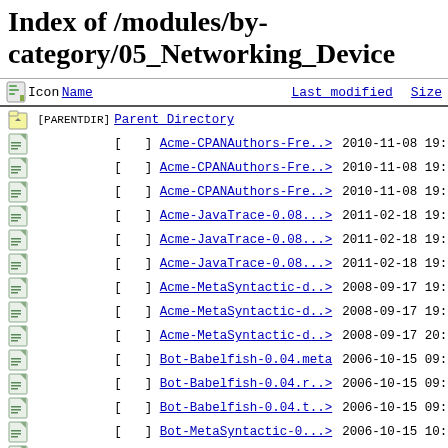Index of /modules/by-category/05_Networking_Device
| Icon | Name | Last modified | Size |
| --- | --- | --- | --- |
| [PARENTDIR] | Parent Directory |  |  |
| [ ] | Acme-CPANAuthors-Fre..> | 2010-11-08 19:34 | 591 |
| [ ] | Acme-CPANAuthors-Fre..> | 2010-11-08 19:34 | 1.3K |
| [ ] | Acme-CPANAuthors-Fre..> | 2010-11-08 19:35 | 7.7K |
| [ ] | Acme-JavaTrace-0.08...> | 2011-02-18 19:15 | 549 |
| [ ] | Acme-JavaTrace-0.08...> | 2011-02-18 19:15 | 1.3K |
| [ ] | Acme-JavaTrace-0.08...> | 2011-02-18 19:20 | 17K |
| [ ] | Acme-MetaSyntactic-d..> | 2008-09-17 19:52 | 535 |
| [ ] | Acme-MetaSyntactic-d..> | 2008-09-17 19:52 | 1.5K |
| [ ] | Acme-MetaSyntactic-d..> | 2008-09-17 20:02 | 16K |
| [ ] | Bot-Babelfish-0.04.meta | 2006-10-15 09:53 | 572 |
| [ ] | Bot-Babelfish-0.04.r..> | 2006-10-15 09:53 | 722 |
| [ ] | Bot-Babelfish-0.04.t..> | 2006-10-15 09:54 | 5.0K |
| [ ] | Bot-MetaSyntactic-0...> | 2006-10-15 10:01 | 533 |
| [ ] | Bot-MetaSyntactic-0...> | 2006-10-15 10:01 | 624 |
| [ ] | Bot-MetaSyntactic-0...> | 2006-10-15 10:00 | 4.7K |
| [ ] | CHECKSUMS | 2021-11-21 16:44 | 49K |
| [ ] | CPAN-Dependency-0.16..> | 2012-09-14 09:34 | 1.3K |
| [ ] | CPAN-Dependency-0.16..> | 2012-09-14 09:34 | 858 |
| [ ] | CPAN-Dependency-0.16..> | 2012-09-14 09:35 | 37K |